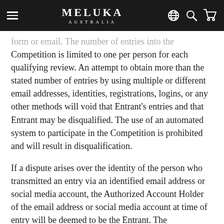MELUKA AUSTRALIA
form or email. The number of entries into the Competition is limited to one per person for each qualifying review. An attempt to obtain more than the stated number of entries by using multiple or different email addresses, identities, registrations, logins, or any other methods will void that Entrant’s entries and that Entrant may be disqualified. The use of an automated system to participate in the Competition is prohibited and will result in disqualification.
If a dispute arises over the identity of the person who transmitted an entry via an identified email address or social media account, the Authorized Account Holder of the email address or social media account at time of entry will be deemed to be the Entrant. The “Authorized Account Holder” is